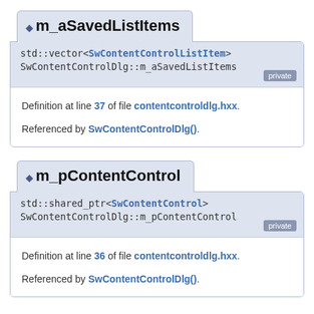m_aSavedListItems
std::vector<SwContentControlListItem> SwContentControlDlg::m_aSavedListItems  private
Definition at line 37 of file contentcontroldlg.hxx.
Referenced by SwContentControlDlg().
m_pContentControl
std::shared_ptr<SwContentControl> SwContentControlDlg::m_pContentControl  private
Definition at line 36 of file contentcontroldlg.hxx.
Referenced by SwContentControlDlg().